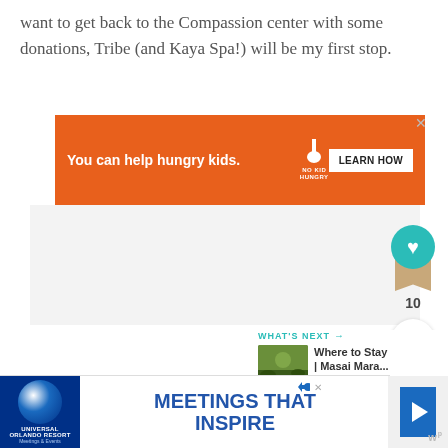want to get back to the Compassion center with some donations, Tribe (and Kaya Spa!) will be my first stop.
[Figure (screenshot): Orange advertisement banner reading 'You can help hungry kids.' with No Kid Hungry logo and 'LEARN HOW' button, with close X in top right corner]
[Figure (infographic): Gray content area with social media widgets: a teal heart/like button with bookmark icon showing count of 10, and a share button below it]
[Figure (screenshot): What's Next panel with teal header text 'WHAT'S NEXT' with arrow, thumbnail image of outdoor scene, and text 'Where to Stay | Masai Mara...']
[Figure (screenshot): Bottom advertisement banner for Universal Orlando Resort 'Meetings & Events' with headline 'MEETINGS THAT INSPIRE', blue play button, close X, and small wm logo]